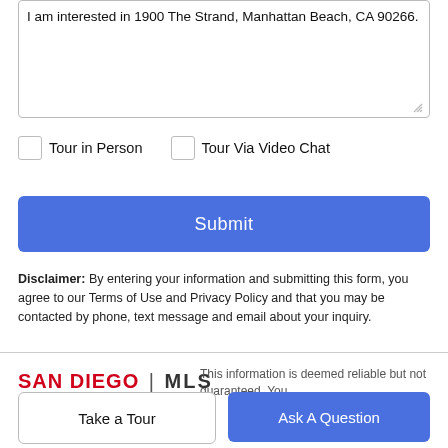I am interested in 1900 The Strand, Manhattan Beach, CA 90266.
Tour in Person
Tour Via Video Chat
Submit
Disclaimer: By entering your information and submitting this form, you agree to our Terms of Use and Privacy Policy and that you may be contacted by phone, text message and email about your inquiry.
[Figure (logo): SAN DIEGO | MLS logo in red and dark text]
This information is deemed reliable but not guaranteed. You
Take a Tour
Ask A Question